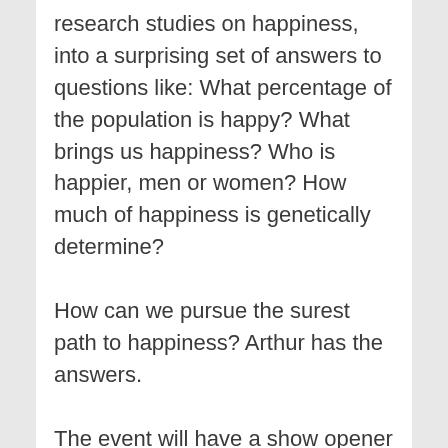research studies on happiness, into a surprising set of answers to questions like: What percentage of the population is happy? What brings us happiness? Who is happier, men or women? How much of happiness is genetically determine?
How can we pursue the surest path to happiness? Arthur has the answers.
The event will have a show opener featuring a performance by the